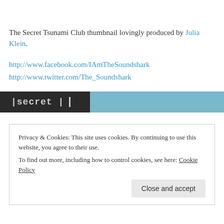The Secret Tsunami Club thumbnail lovingly produced by Julia Klein.
http://www.facebook.com/IAmTheSoundshark
http://www.twitter.com/The_Soundshark
October 25, 2020   Leave a Reply
Privacy & Cookies: This site uses cookies. By continuing to use this website, you agree to their use.
To find out more, including how to control cookies, see here: Cookie Policy
Close and accept
[Figure (screenshot): Partial bottom image showing 'secret' text in monospace on dark background with blue-grey right portion]